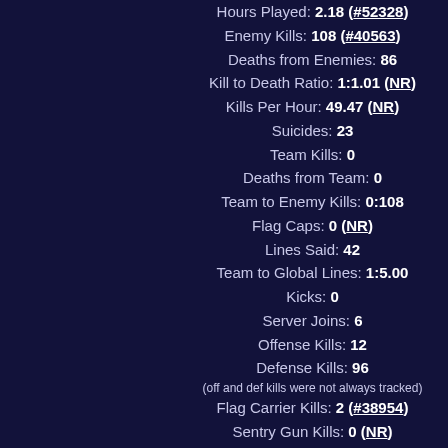Hours Played: 2.18 (#52328)
Enemy Kills: 108 (#40563)
Deaths from Enemies: 86
Kill to Death Ratio: 1:1.01 (NR)
Kills Per Hour: 49.47 (NR)
Suicides: 23
Team Kills: 0
Deaths from Team: 0
Team to Enemy Kills: 0:108
Flag Caps: 0 (NR)
Lines Said: 42
Team to Global Lines: 1:5.00
Kicks: 0
Server Joins: 6
Offense Kills: 12
Defense Kills: 96
(off and def kills were not always tracked)
Flag Carrier Kills: 2 (#38954)
Sentry Gun Kills: 0 (NR)
Dispenser Kills: 0 (NR)
[Figure (bar-chart): Hours played for each]